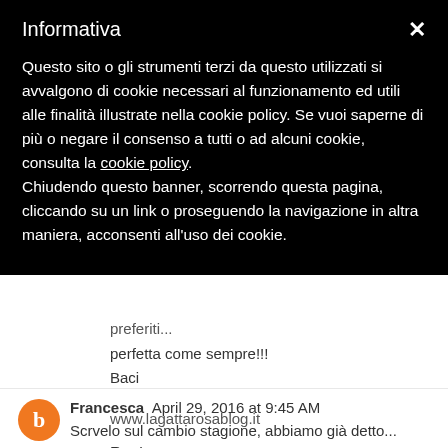Informativa
Questo sito o gli strumenti terzi da questo utilizzati si avvalgono di cookie necessari al funzionamento ed utili alle finalità illustrate nella cookie policy. Se vuoi saperne di più o negare il consenso a tutti o ad alcuni cookie, consulta la cookie policy.
Chiudendo questo banner, scorrendo questa pagina, cliccando su un link o proseguendo la navigazione in altra maniera, acconsenti all'uso dei cookie.
preferiti...
perfetta come sempre!!!
Baci
www.lagattarosablog.it
Reply
Francesca  April 29, 2016 at 9:45 AM
Scrvelo sul cambio stagione, abbiamo già detto... Finalmente se